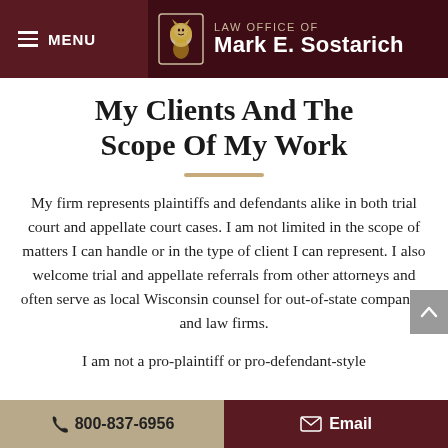MENU | Law Office OF Mark E. Sostarich
My Clients And The Scope Of My Work
My firm represents plaintiffs and defendants alike in both trial court and appellate court cases. I am not limited in the scope of matters I can handle or in the type of client I can represent. I also welcome trial and appellate referrals from other attorneys and often serve as local Wisconsin counsel for out-of-state companies and law firms.
I am not a pro-plaintiff or pro-defendant-style
800-837-6956 | Email